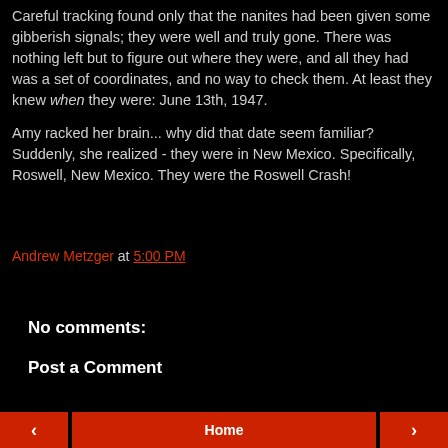Careful tracking found only that the nanites had been given some gibberish signals; they were well and truly gone. There was nothing left but to figure out where they were, and all they had was a set of coordinates, and no way to check them. At least they knew when they were: June 13th, 1947.
Amy racked her brain... why did that date seem familiar? Suddenly, she realized - they were in New Mexico. Specifically, Roswell, New Mexico. They were the Roswell Crash!
Andrew Metzger at 5:00 PM
Share
No comments:
Post a Comment
< | Home | >